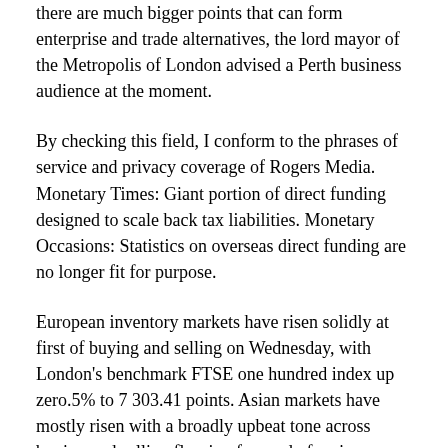there are much bigger points that can form enterprise and trade alternatives, the lord mayor of the Metropolis of London advised a Perth business audience at the moment.
By checking this field, I conform to the phrases of service and privacy coverage of Rogers Media. Monetary Times: Giant portion of direct funding designed to scale back tax liabilities. Monetary Occasions: Statistics on overseas direct funding are no longer fit for purpose.
European inventory markets have risen solidly at first of buying and selling on Wednesday, with London's benchmark FTSE one hundred index up zero.5% to 7 303.41 points. Asian markets have mostly risen with a broadly upbeat tone across buying and selling flooring forward of major meetings on the European and US central banks,